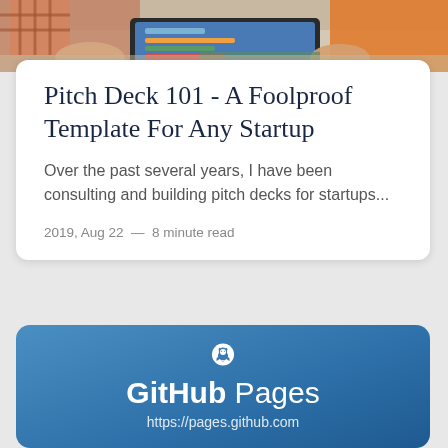[Figure (photo): Top portion of a photo showing people working around a table with a tablet/laptop, partially cropped at top of page.]
Pitch Deck 101 - A Foolproof Template For Any Startup
Over the past several years, I have been consulting and building pitch decks for startups...
2019, Aug 22  —  8 minute read
[Figure (logo): GitHub Pages logo banner with GitHub Octocat icon in white circle on blue gradient background, text 'GitHub Pages' and URL 'https://pages.github.com']